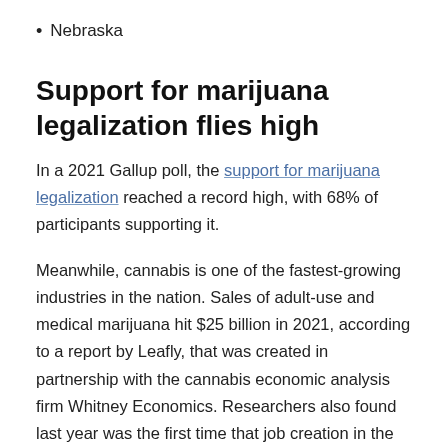Nebraska
Support for marijuana legalization flies high
In a 2021 Gallup poll, the support for marijuana legalization reached a record high, with 68% of participants supporting it.
Meanwhile, cannabis is one of the fastest-growing industries in the nation. Sales of adult-use and medical marijuana hit $25 billion in 2021, according to a report by Leafly, that was created in partnership with the cannabis economic analysis firm Whitney Economics. Researchers also found last year was the first time that job creation in the marijuana industry exceeded six